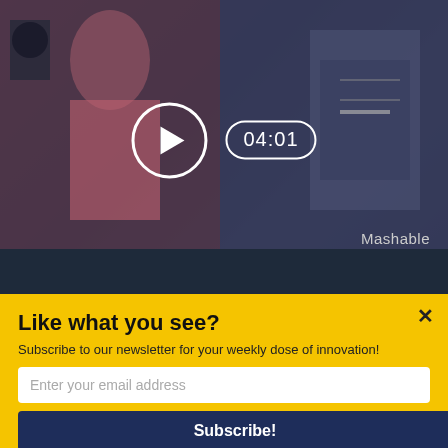[Figure (screenshot): Video thumbnail showing a woman and a 3D printer, with a play button circle and time badge showing 04:01, and Mashable watermark at bottom right]
[Figure (infographic): Action row with yellow upvote button showing 0 votes, dark blue share button, and Flag option on the right]
WHY SHOULD YOU WATCH THIS?
“The world of fashion has embraced 3D-printing
[Figure (screenshot): Yellow newsletter subscription modal overlay with title 'Like what you see?', subtitle 'Subscribe to our newsletter for your weekly dose of innovation!', email input field, and Subscribe! button]